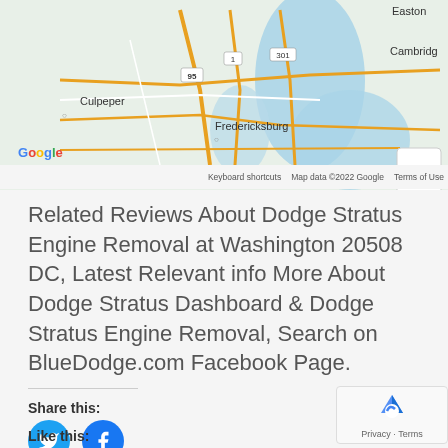[Figure (map): Google Maps showing Washington DC area region including Culpeper, Fredericksburg, with roads 95, 1, 301 visible. Zoom +/- controls on right. Shows Chesapeake Bay area with Easton and Cambridge visible top right.]
Related Reviews About Dodge Stratus Engine Removal at Washington 20508 DC, Latest Relevant info More About Dodge Stratus Dashboard & Dodge Stratus Engine Removal, Search on BlueDodge.com Facebook Page.
Share this:
[Figure (other): Twitter share button (blue circle with bird icon)]
[Figure (other): Facebook share button (blue circle with f icon)]
Like this: